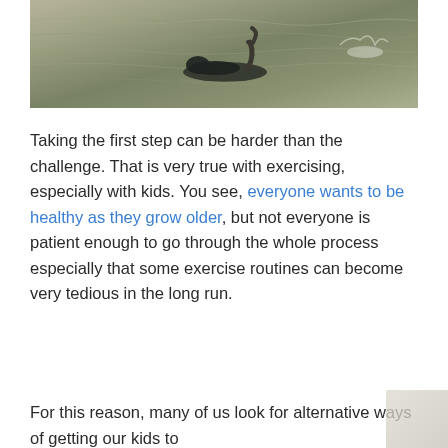[Figure (photo): A bird or animal near water, possibly swimming or splashing, with a dark silhouette visible against rippling water surface.]
Taking the first step can be harder than the challenge. That is very true with exercising, especially with kids. You see, everyone wants to be healthy as they grow older, but not everyone is patient enough to go through the whole process especially that some exercise routines can become very tedious in the long run.
For this reason, many of us look for alternative ways of getting our kids to